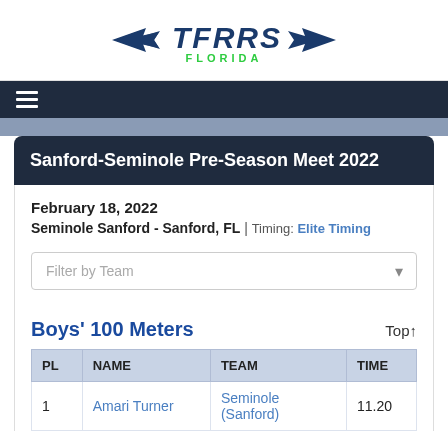[Figure (logo): TFRRS Florida logo with wing graphics on left and right, bold italic blue TFRRS text, green FLORIDA subtitle]
≡ (hamburger menu navigation bar, dark background)
Sanford-Seminole Pre-Season Meet 2022
February 18, 2022
Seminole Sanford - Sanford, FL | Timing: Elite Timing
Filter by Team
Boys' 100 Meters
| PL | NAME | TEAM | TIME |
| --- | --- | --- | --- |
| 1 | Amari Turner | Seminole (Sanford) | 11.20 |